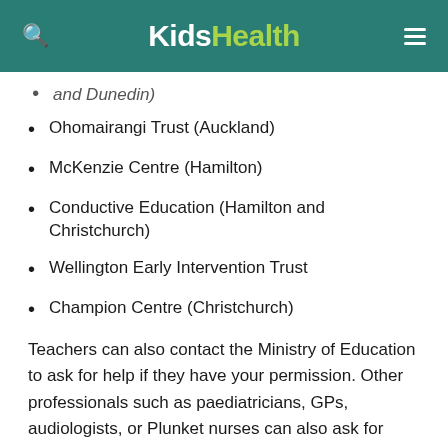KidsHealth
and Dunedin)
Ohomairangi Trust (Auckland)
McKenzie Centre (Hamilton)
Conductive Education (Hamilton and Christchurch)
Wellington Early Intervention Trust
Champion Centre (Christchurch)
Teachers can also contact the Ministry of Education to ask for help if they have your permission. Other professionals such as paediatricians, GPs, audiologists, or Plunket nurses can also ask for support with your permission. Your child does not need a diagnosis